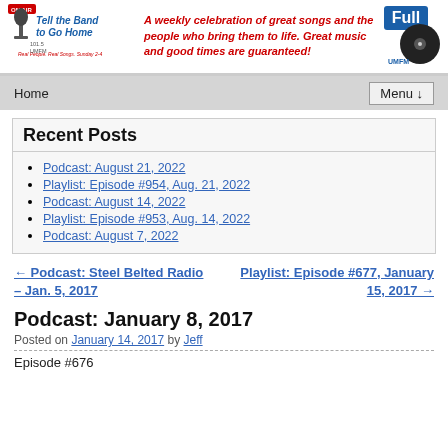[Figure (logo): Tell the Band to Go Home radio show logo with ON AIR badge and microphone, UMFM Full logo on right]
A weekly celebration of great songs and the people who bring them to life. Great music and good times are guaranteed!
Home   Menu ↓
Recent Posts
Podcast: August 21, 2022
Playlist: Episode #954, Aug. 21, 2022
Podcast: August 14, 2022
Playlist: Episode #953, Aug. 14, 2022
Podcast: August 7, 2022
← Podcast: Steel Belted Radio – Jan. 5, 2017
Playlist: Episode #677, January 15, 2017 →
Podcast: January 8, 2017
Posted on January 14, 2017 by Jeff
Episode #676